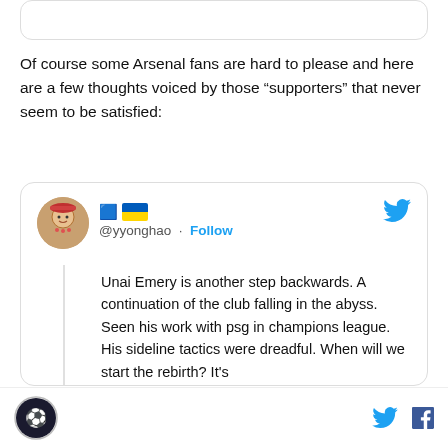[Figure (screenshot): Top of a previous card/element, partially visible]
Of course some Arsenal fans are hard to please and here are a few thoughts voiced by those “supporters” that never seem to be satisfied:
[Figure (screenshot): Tweet from @yyonghao with Ukraine flag emoji. Text: Unai Emery is another step backwards. A continuation of the club falling in the abyss. Seen his work with psg in champions league. His sideline tactics were dreadful. When will we start the rebirth? It's]
Footer with site logo and social media icons (Twitter and Facebook)